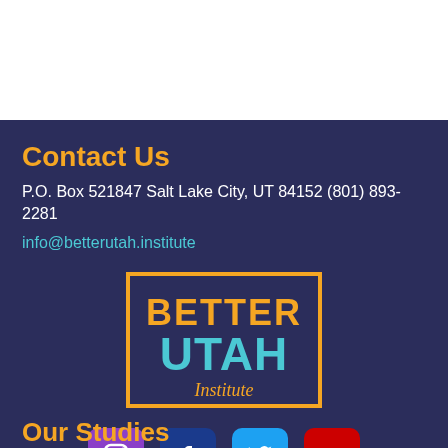Contact Us
P.O. Box 521847 Salt Lake City, UT 84152 (801) 893-2281
info@betterutah.institute
[Figure (logo): Better Utah Institute logo — orange rectangle border, BETTER in orange bold text, UTAH in large light blue bold text, Institute in orange italic text below]
[Figure (infographic): Four social media icons: Instagram (purple), Facebook (dark blue), Twitter (light blue), YouTube (red)]
Our Studies